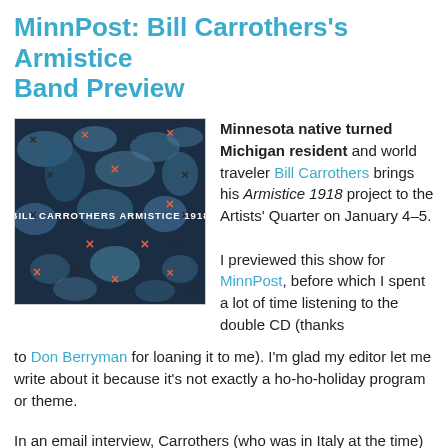MinnPost: Bill Carrothers's Armistice Band Preview
[Figure (illustration): Album cover for Bill Carrothers Armistice 1918, dark blue/navy background with abstract smoke-like shapes and orange and black X marks scattered throughout, with text 'BILL CARROTHERS ARMISTICE 1918' in white near the center.]
Minnesota native turned Michigan resident and world traveler Bill Carrothers brings his Armistice 1918 project to the Artists' Quarter on January 4–5.

I previewed this show for MinnPost, before which I spent a lot of time listening to the double CD (thanks to Don Berryman for loaning it to me). I'm glad my editor let me write about it because it's not exactly a ho-ho-holiday program or theme.
In an email interview, Carrothers (who was in Italy at the time) told me about the band he's bringing to the AQ: